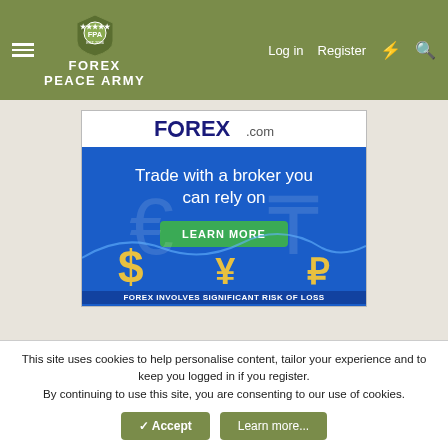FOREX PEACE ARMY — Log in  Register
[Figure (screenshot): FOREX.com advertisement banner: 'Trade with a broker you can rely on' with LEARN MORE button and currency symbols ($, ¥, ₽). Bottom text: FOREX INVOLVES SIGNIFICANT RISK OF LOSS]
This site uses cookies to help personalise content, tailor your experience and to keep you logged in if you register.
By continuing to use this site, you are consenting to our use of cookies.
✓ Accept   Learn more...